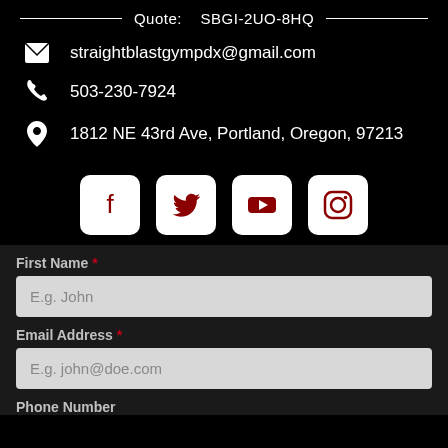Quote: SBGI-2UO-8HQ
straightblastgympdx@gmail.com
503-230-7924
1812 NE 43rd Ave, Portland, Oregon, 97213
[Figure (infographic): Four social media icon buttons: Facebook, Twitter, YouTube, Instagram — white rounded squares with dark red icons]
First Name *
E.g. John
Email Address *
E.g. john@doe.com
Phone Number